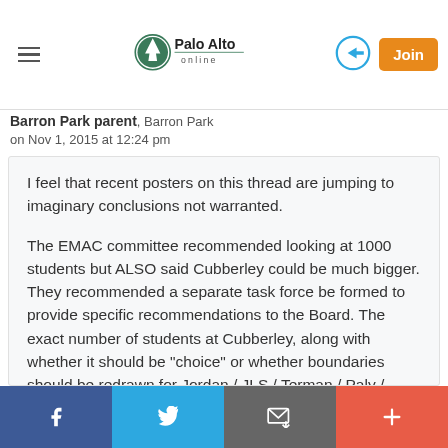Palo Alto online — navigation header with hamburger menu, logo, login icon, and Join button
Barron Park parent, Barron Park
on Nov 1, 2015 at 12:24 pm
I feel that recent posters on this thread are jumping to imaginary conclusions not warranted.

The EMAC committee recommended looking at 1000 students but ALSO said Cubberley could be much bigger. They recommended a separate task force be formed to provide specific recommendations to the Board. The exact number of students at Cubberley, along with whether it should be "choice" or whether boundaries should be redrawn for Jordan / JLS / Terman / Paly / Gunn / Cubberley is a job for the task force, with community input, and rightly so.
Social sharing bar: Facebook, Twitter, Email, More